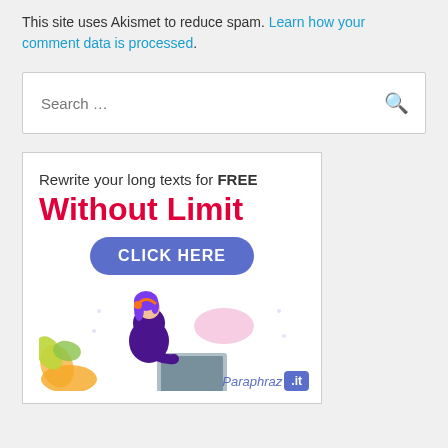This site uses Akismet to reduce spam. Learn how your comment data is processed.
[Figure (screenshot): Search box with placeholder text 'Search ...' and a magnifying glass icon on the right]
[Figure (infographic): Advertisement banner for Paraphraz.it: 'Rewrite your long texts for FREE Without Limit CLICK HERE' with illustration of a woman at a laptop with leaves and speech bubble]